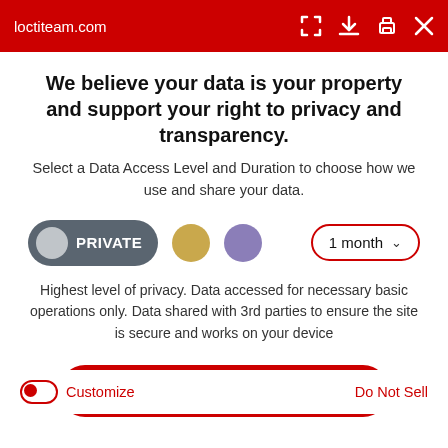loctiteam.com
We believe your data is your property and support your right to privacy and transparency.
Select a Data Access Level and Duration to choose how we use and share your data.
PRIVATE | 1 month
Highest level of privacy. Data accessed for necessary basic operations only. Data shared with 3rd parties to ensure the site is secure and works on your device
Save my preferences
Customize
Do Not Sell